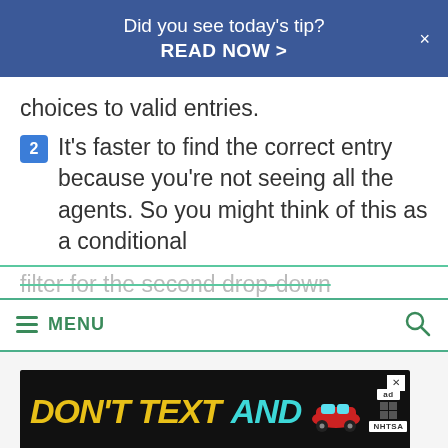Did you see today's tip? READ NOW >
choices to valid entries.
2  It's faster to find the correct entry because you're not seeing all the agents. So you might think of this as a conditional filter for the second drop-down
MENU
[Figure (infographic): DON'T TEXT AND [car emoji] advertisement banner with NHTSA logo]